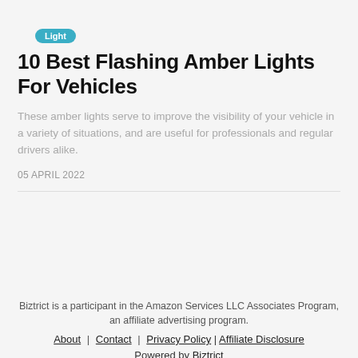Light
10 Best Flashing Amber Lights For Vehicles
These amber lights serve to improve the visibility of your vehicle in a variety of situations, and are useful for professionals and regular drivers alike.
05 APRIL 2022
Biztrict is a participant in the Amazon Services LLC Associates Program, an affiliate advertising program. About | Contact | Privacy Policy | Affiliate Disclosure Powered by Biztrict